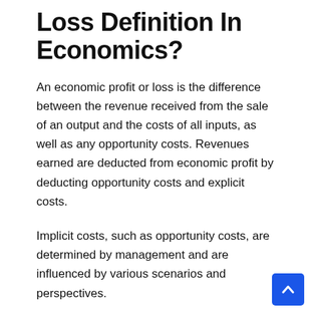Loss Definition In Economics?
An economic profit or loss is the difference between the revenue received from the sale of an output and the costs of all inputs, as well as any opportunity costs. Revenues earned are deducted from economic profit by deducting opportunity costs and explicit costs.
Implicit costs, such as opportunity costs, are determined by management and are influenced by various scenarios and perspectives.
Economic Profit Or Loss
Accounting profit is often analyzed in